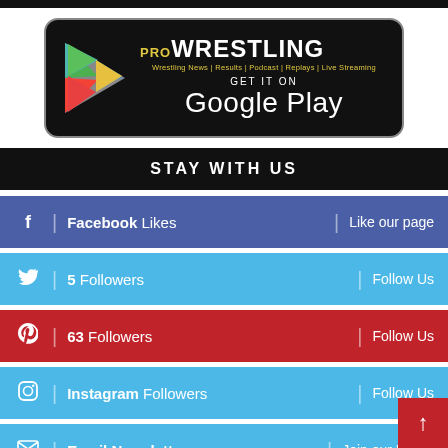[Figure (logo): ProWrestling app Google Play badge on black rounded rectangle with Google Play triangle logo]
STAY WITH US
Facebook Likes | Like our page
5 Followers | Follow Us
63 Followers | Follow Us
Instagram Followers | Follow Us
Email Newsletter | Join our Newsletter